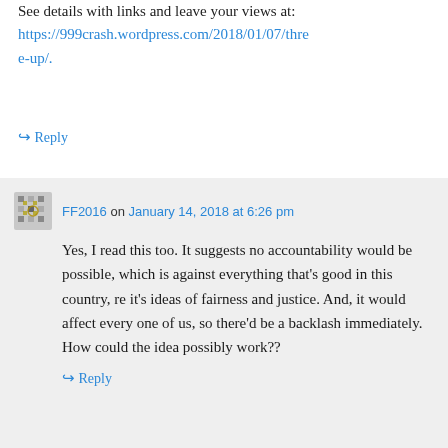See details with links and leave your views at: https://999crash.wordpress.com/2018/01/07/three-up/.
↪ Reply
FF2016 on January 14, 2018 at 6:26 pm
Yes, I read this too. It suggests no accountability would be possible, which is against everything that's good in this country, re it's ideas of fairness and justice. And, it would affect every one of us, so there'd be a backlash immediately. How could the idea possibly work??
↪ Reply